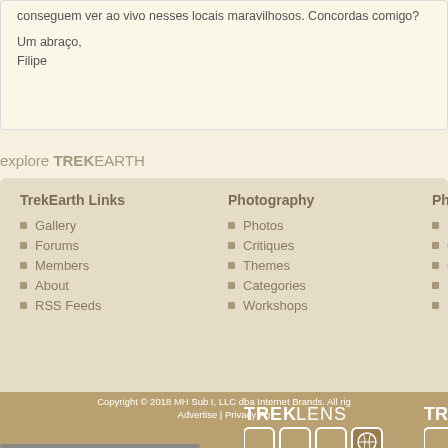conseguem ver ao vivo nesses locais maravilhosos. Concordas comigo?
Um abraço,
Filipe
explore TREKEARTH
TrekEarth Links
Gallery
Forums
Members
About
RSS Feeds
Photography
Photos
Critiques
Themes
Categories
Workshops
Photo E
Nikon D
Canon
Canon
Nikon D
Panase
[Figure (logo): TrekLens logo with box icons and partial TrekEarth logo]
Copyright © 2018 MH Sub I, LLC dba Internet Brands. All rig
Advertise | Privacy Po